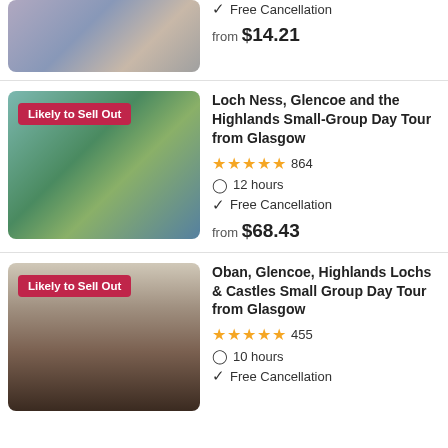[Figure (photo): Group of tourists walking on a cobblestone area]
Free Cancellation
from $14.21
[Figure (photo): Scenic view of a loch surrounded by hills and reflecting clouds, with a 'Likely to Sell Out' badge]
Loch Ness, Glencoe and the Highlands Small-Group Day Tour from Glasgow
864 reviews, 5 stars
12 hours
Free Cancellation
from $68.43
[Figure (photo): Hiker with backpack standing in a highland glen valley, with a 'Likely to Sell Out' badge]
Oban, Glencoe, Highlands Lochs & Castles Small Group Day Tour from Glasgow
455 reviews, 5 stars
10 hours
Free Cancellation